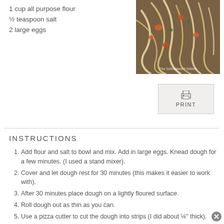1 cup all purpose flour
½ teaspoon salt
2 large eggs
[Figure (photo): A plate of fresh homemade noodles/pasta with vegetables and sauce, with text 'The Schmiaweht Sisters' watermark]
[Figure (other): Print button with printer icon]
INSTRUCTIONS
Add flour and salt to bowl and mix. Add in large eggs. Knead dough for a few minutes. (I used a stand mixer).
Cover and let dough rest for 30 minutes (this makes it easier to work with).
After 30 minutes place dough on a lightly floured surface.
Roll dough out as thin as you can.
Use a pizza cutter to cut the dough into strips (I did about ¼" thick).
Place noodles on a cookie sheet or leave on counter to dry for 2 hours.
Now place in an airtight container in the fridge and use within 4 days or cook in boiling water until tender, about 10 minutes.